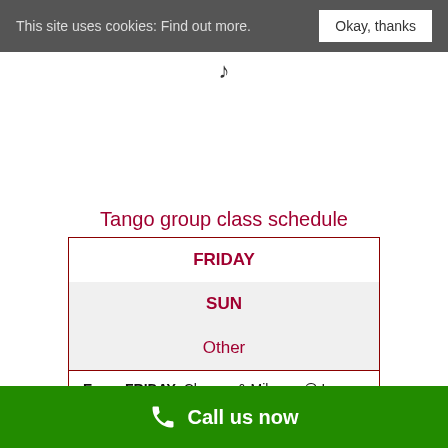This site uses cookies: Find out more. Okay, thanks
Tango group class schedule
| FRIDAY |
| SUN |
| Other |
Every FRIDAY: Classes & Milonga @ La Milonga del viernes (Angel, N1)
Call us now